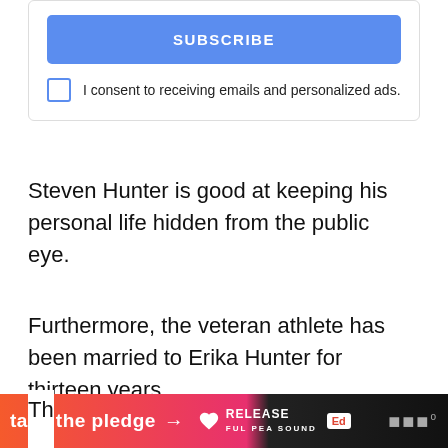[Figure (screenshot): Subscribe button (blue) with checkbox and consent text for emails and personalized ads]
Steven Hunter is good at keeping his personal life hidden from the public eye.
Furthermore, the veteran athlete has been married to Erika Hunter for thirteen years.
Erika Hunter works as a special education instructional assistant at a public school in Mesa, Arizona, and the pair now resides in Mesa.
[Figure (infographic): Bottom ad banner: 'take the pledge' with arrow, Release logo, Ed logo, and dark right section]
Th